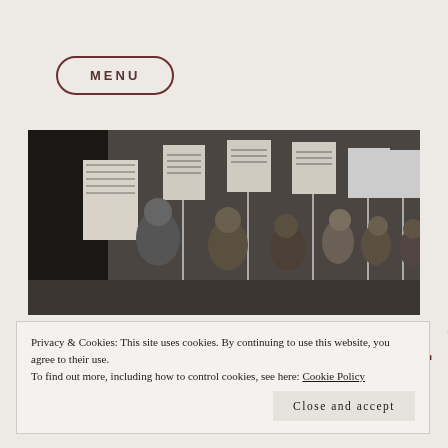MENU
[Figure (photo): Black and white historical photograph showing a group of people holding protest signs/picket signs, standing together indoors.]
LIFELONG WORRL Y
Privacy & Cookies: This site uses cookies. By continuing to use this website, you agree to their use.
To find out more, including how to control cookies, see here: Cookie Policy
Close and accept